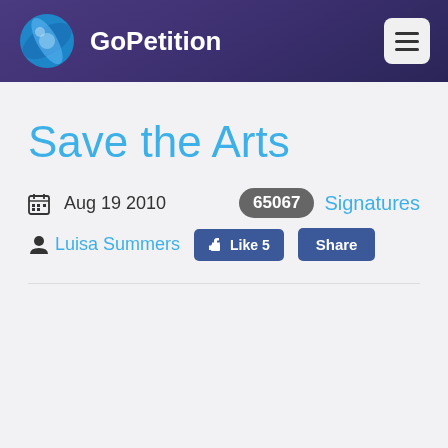GoPetition
Save the Arts
Aug 19 2010
65067 Signatures
Luisa Summers
Like 5   Share